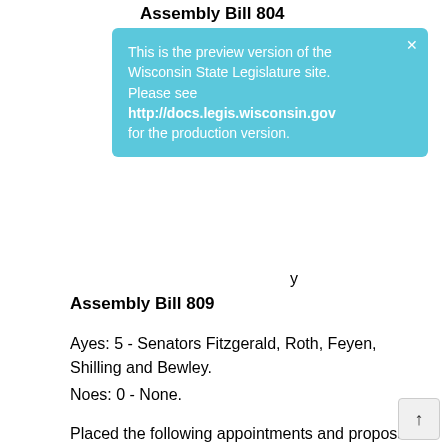[Figure (screenshot): Preview version notification banner for Wisconsin State Legislature site with blue background, showing text 'This is the preview version of the Wisconsin State Legislature site. Please see http://docs.legis.wisconsin.gov for the production version.' with a close X button.]
Assembly Bill 809
Ayes: 5 - Senators Fitzgerald, Roth, Feyen, Shilling and Bewley.
Noes: 0 - None.
Placed the following appointments and proposals on the Senate Calendar of Wednesday, February 19, 2020:
Emilie Amundson
Sherman Banker
Preston D. Cole
Terrance L. Craney